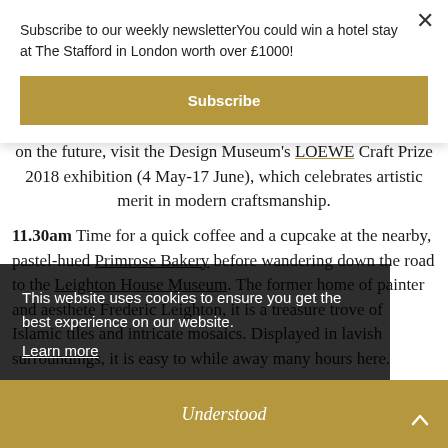Subscribe to our weekly newsletterYou could win a hotel stay at The Stafford in London worth over £1000!
Subscribe
on the future, visit the Design Museum's LOEWE Craft Prize 2018 exhibition (4 May-17 June), which celebrates artistic merit in modern craftsmanship.
11.30am Time for a quick coffee and a cupcake at the nearby, pastel-hued Primrose Bakery before wandering down the road to the Leighton House Museum. The former home of painter and aesthete Frederic Leighton, it is a treasure trove of Islamic tiles and intricate mosaics. Displayed in lavish surroundings, it is easy to while away many hours here.
This website uses cookies to ensure you get the best experience on our website. Learn more
Understood